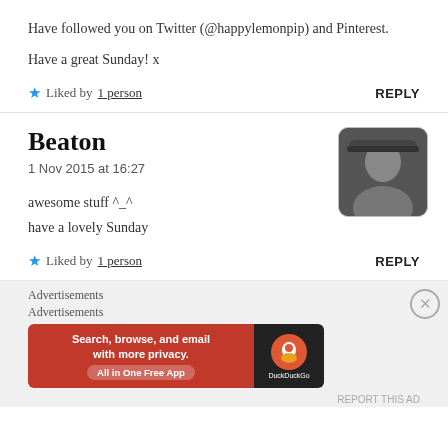Have followed you on Twitter (@happylemonpip) and Pinterest.
Have a great Sunday! x
★ Liked by 1 person    REPLY
Beaton
1 Nov 2015 at 16:27
[Figure (photo): Avatar photo of commenter Beaton, a person wearing a hat]
awesome stuff ^_^
have a lovely Sunday
★ Liked by 1 person    REPLY
Advertisements
Advertisements
[Figure (screenshot): DuckDuckGo advertisement banner: Search, browse, and email with more privacy. All in One Free App]